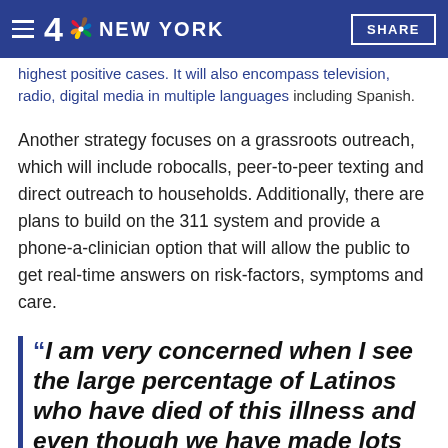4 NBC NEW YORK | SHARE
highest positive cases. It will also encompass television, radio, digital media in multiple languages including Spanish.
Another strategy focuses on a grassroots outreach, which will include robocalls, peer-to-peer texting and direct outreach to households. Additionally, there are plans to build on the 311 system and provide a phone-a-clinician option that will allow the public to get real-time answers on risk-factors, symptoms and care.
“I am very concerned when I see the large percentage of Latinos who have died of this illness and even though we have made lots of efforts